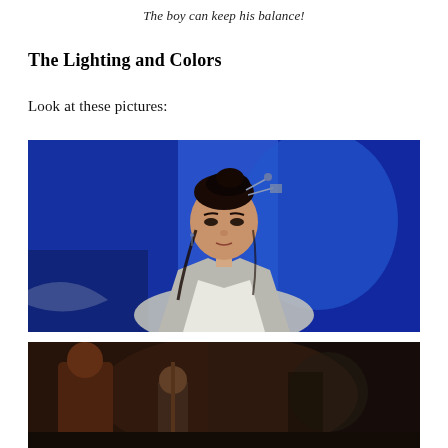The boy can keep his balance!
The Lighting and Colors
Look at these pictures:
[Figure (photo): A young Asian woman in traditional Chinese hanfu costume with hair ornaments, standing against a vivid blue backdrop, looking forward with a serious expression.]
[Figure (photo): A partially visible scene showing figures in darker, warmer tones, appearing to be from the same film or production.]